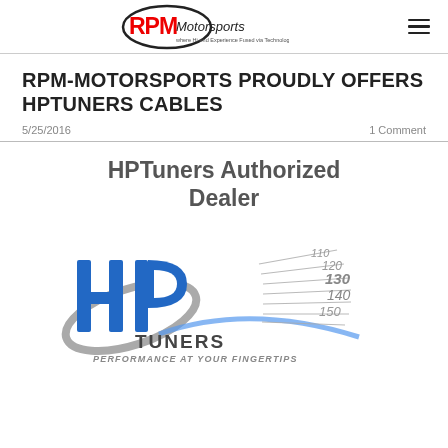RPM Motorsports logo and navigation menu
RPM-MOTORSPORTS PROUDLY OFFERS HPTUNERS CABLES
5/25/2016    1 Comment
HPTuners Authorized Dealer
[Figure (logo): HPTuners logo with 'HP' in blue block letters and 'TUNERS' text below, with speedometer lines and tagline 'PERFORMANCE AT YOUR FINGERTIPS']